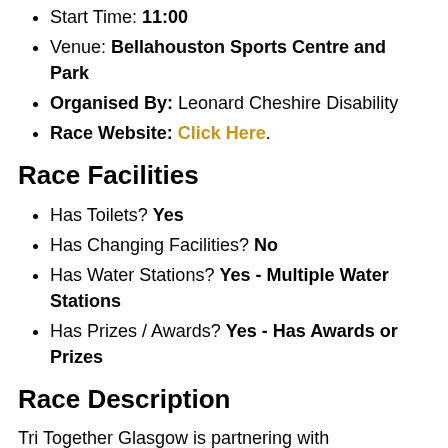Start Time: 11:00
Venue: Bellahouston Sports Centre and Park
Organised By: Leonard Cheshire Disability
Race Website: Click Here.
Race Facilities
Has Toilets? Yes
Has Changing Facilities? No
Has Water Stations? Yes - Multiple Water Stations
Has Prizes / Awards? Yes - Has Awards or Prizes
Race Description
Tri Together Glasgow is partnering with triathlonscotland to bring our award-winning event to Bellahouston Sports Centre and Park in Glasgow on Sunday 21 September 2014. Bike, swim and run for Leonard Cheshire Disability with entrance to all three